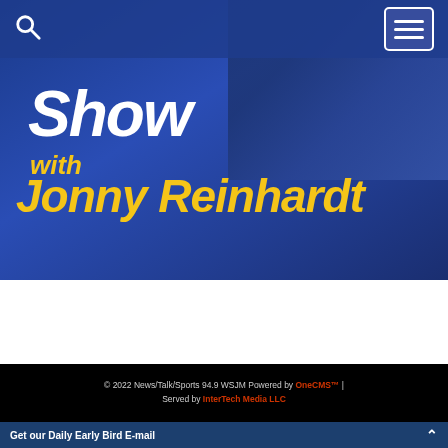[Figure (screenshot): Website screenshot showing a radio show banner for 'Show with Jonny Reinhardt' on News/Talk/Sports 94.9 WSJM, with navigation bar, show logo on blue background, and footer elements.]
© 2022 News/Talk/Sports 94.9 WSJM Powered by OneCMS™ | Served by InterTech Media LLC
Get our Daily Early Bird E-mail